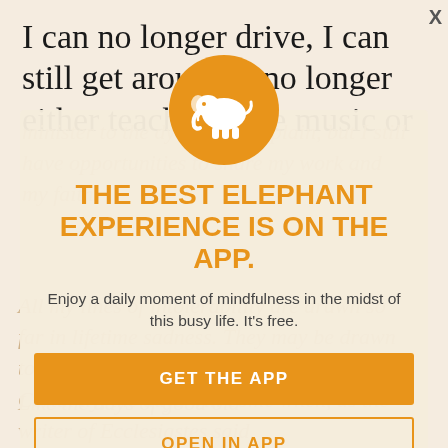I can no longer drive, I can still get around. I no longer either teach college music or
minister to the dying. Each, plain, but I still have opportunities to share my work and my faith.
All my lines of intolerability are drawn so far in lifetime sadness. They may be drawn to tonight in the coming months or years. Certainly, the days will come when, as the writer of Ecclesiastes said,
Like the days of good old
[Figure (logo): White elephant silhouette on an orange circle, serving as the Elephant app logo]
THE BEST ELEPHANT EXPERIENCE IS ON THE APP.
Enjoy a daily moment of mindfulness in the midst of this busy life. It's free.
GET THE APP
OPEN IN APP